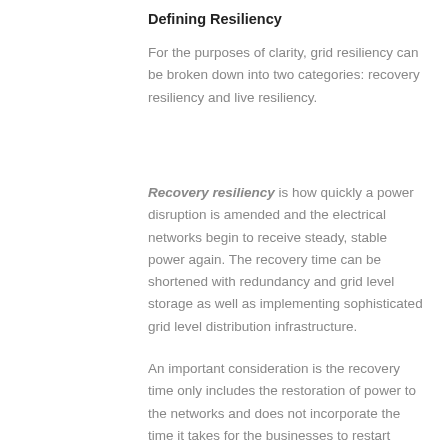Defining Resiliency
For the purposes of clarity, grid resiliency can be broken down into two categories: recovery resiliency and live resiliency.
Recovery resiliency is how quickly a power disruption is amended and the electrical networks begin to receive steady, stable power again. The recovery time can be shortened with redundancy and grid level storage as well as implementing sophisticated grid level distribution infrastructure.
An important consideration is the recovery time only includes the restoration of power to the networks and does not incorporate the time it takes for the businesses to restart